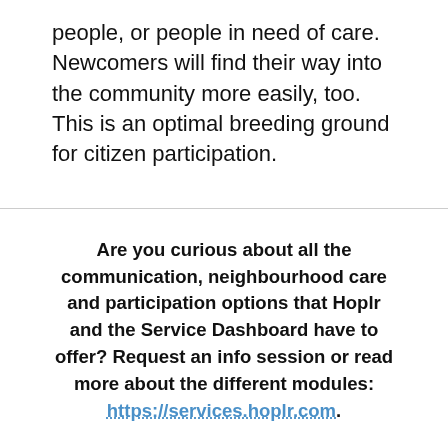people, or people in need of care. Newcomers will find their way into the community more easily, too. This is an optimal breeding ground for citizen participation.
Are you curious about all the communication, neighbourhood care and participation options that Hoplr and the Service Dashboard have to offer? Request an info session or read more about the different modules: https://services.hoplr.com.